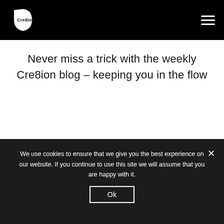Cre8ion [logo] [hamburger menu]
Never miss a trick with the weekly Cre8ion blog – keeping you in the flow
We use cookies to ensure that we give you the best experience on our website. If you continue to use this site we will assume that you are happy with it.
Ok